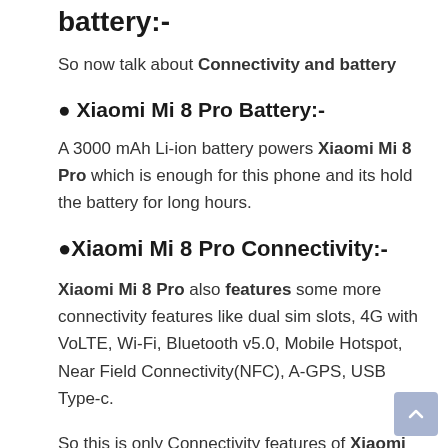battery:-
So now talk about Connectivity and battery
Xiaomi Mi 8 Pro Battery:-
A 3000 mAh Li-ion battery powers Xiaomi Mi 8 Pro which is enough for this phone and its hold the battery for long hours.
Xiaomi Mi 8 Pro Connectivity:-
Xiaomi Mi 8 Pro also features some more connectivity features like dual sim slots, 4G with VoLTE, Wi-Fi, Bluetooth v5.0, Mobile Hotspot, Near Field Connectivity(NFC), A-GPS, USB Type-c.
So this is only Connectivity features of Xiaomi Mi 8 Pro full Specifications